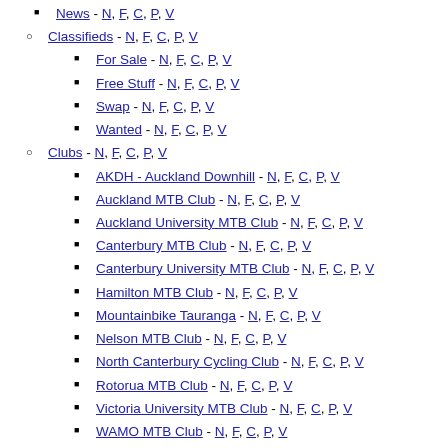News - N, F, C, P, V
Classifieds - N, F, C, P, V
For Sale - N, F, C, P, V
Free Stuff - N, F, C, P, V
Swap - N, F, C, P, V
Wanted - N, F, C, P, V
Clubs - N, F, C, P, V
AKDH - Auckland Downhill - N, F, C, P, V
Auckland MTB Club - N, F, C, P, V
Auckland University MTB Club - N, F, C, P, V
Canterbury MTB Club - N, F, C, P, V
Canterbury University MTB Club - N, F, C, P, V
Hamilton MTB Club - N, F, C, P, V
Mountainbike Tauranga - N, F, C, P, V
Nelson MTB Club - N, F, C, P, V
North Canterbury Cycling Club - N, F, C, P, V
Rotorua MTB Club - N, F, C, P, V
Victoria University MTB Club - N, F, C, P, V
WAMO MTB Club - N, F, C, P, V
Wellington MTB Club - N, F, C, P, V
Whakatane MTB Club - N, F, C, P, V
Whangarei MTB Club - N, F, C, P, V
Competitions - N, F, C, P, V
What I Did For My Easter Holidays - N, F, C, P, V